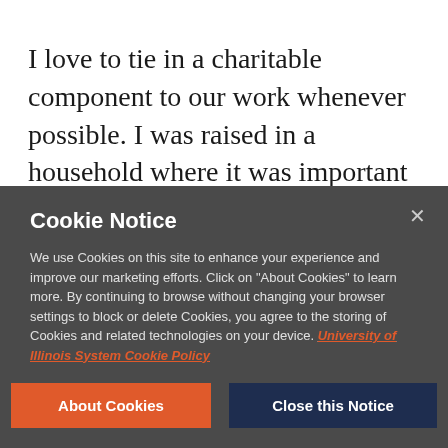I love to tie in a charitable component to our work whenever possible. I was raised in a household where it was important to help those less fortunate and in need of a hand.
Cookie Notice
We use Cookies on this site to enhance your experience and improve our marketing efforts. Click on "About Cookies" to learn more. By continuing to browse without changing your browser settings to block or delete Cookies, you agree to the storing of Cookies and related technologies on your device. University of Illinois System Cookie Policy